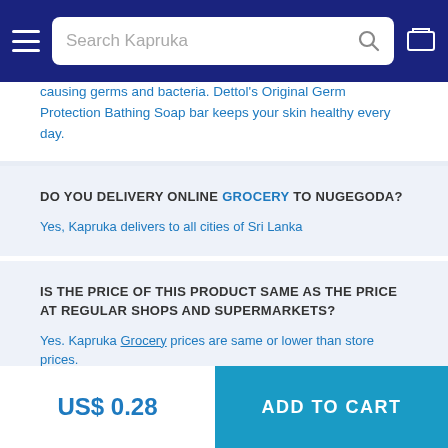Search Kapruka
causing germs and bacteria. Dettol's Original Germ Protection Bathing Soap bar keeps your skin healthy every day.
DO YOU DELIVERY ONLINE GROCERY TO NUGEGODA?
Yes, Kapruka delivers to all cities of Sri Lanka
IS THE PRICE OF THIS PRODUCT SAME AS THE PRICE AT REGULAR SHOPS AND SUPERMARKETS?
Yes. Kapruka Grocery prices are same or lower than store prices.
WHAT IS THE PRICE IN SRI LANKA FOR DETTOL
US$ 0.28
ADD TO CART